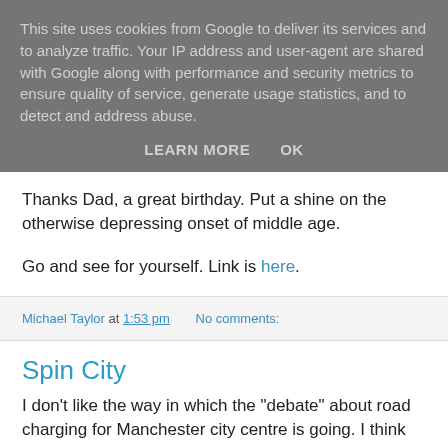This site uses cookies from Google to deliver its services and to analyze traffic. Your IP address and user-agent are shared with Google along with performance and security metrics to ensure quality of service, generate usage statistics, and to detect and address abuse.
LEARN MORE    OK
Thanks Dad, a great birthday. Put a shine on the otherwise depressing onset of middle age.
Go and see for yourself. Link is here.
Michael Taylor at 1:53 pm    No comments:
Spin City
I don't like the way in which the "debate" about road charging for Manchester city centre is going. I think Manchester City